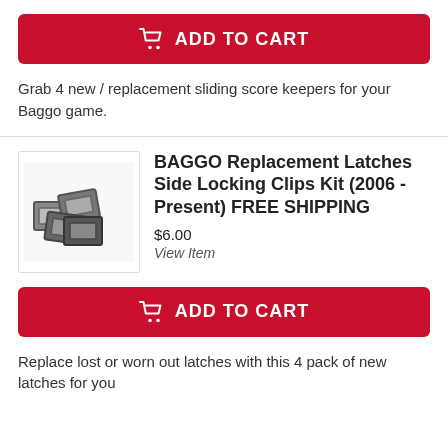[Figure (other): Red ADD TO CART button with shopping cart icon]
Grab 4 new / replacement sliding score keepers for your Baggo game.
[Figure (photo): Product photo of BAGGO replacement latches / side locking clips]
BAGGO Replacement Latches Side Locking Clips Kit (2006 - Present) FREE SHIPPING
$6.00
View Item
[Figure (other): Red ADD TO CART button with shopping cart icon]
Replace lost or worn out latches with this 4 pack of new latches for you